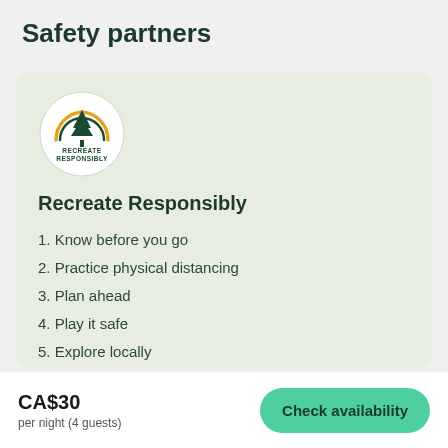Safety partners
[Figure (logo): Recreate Responsibly logo: circular emblem with an evergreen tree and arc in dark green and orange/gold, with text RECREATE RESPONSIBLY below]
Recreate Responsibly
1. Know before you go
2. Practice physical distancing
3. Plan ahead
4. Play it safe
5. Explore locally
CA$30
per night (4 guests)
Check availability